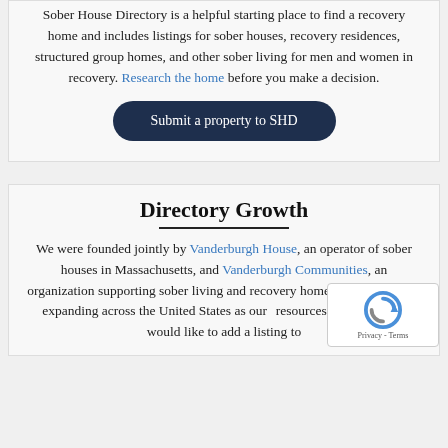Sober House Directory is a helpful starting place to find a recovery home and includes listings for sober houses, recovery residences, structured group homes, and other sober living for men and women in recovery. Research the home before you make a decision.
Submit a property to SHD
Directory Growth
We were founded jointly by Vanderburgh House, an operator of sober houses in Massachusetts, and Vanderburgh Communities, an organization supporting sober living and recovery home operators. We're expanding across the United States as our resources permit! If you would like to add a listing to